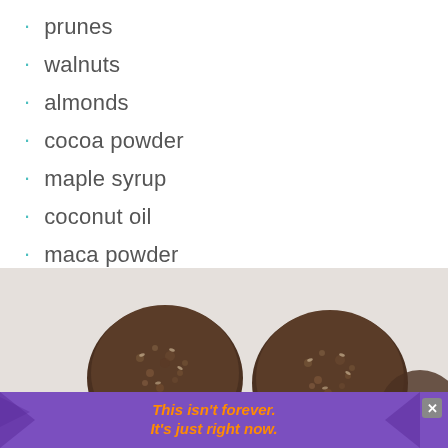prunes
walnuts
almonds
cocoa powder
maple syrup
coconut oil
maca powder
[Figure (photo): Two dark brown energy/protein balls made with nuts and seeds on a light background, with a heart icon (321 saves) and share button overlay]
This isn't forever. It's just right now.